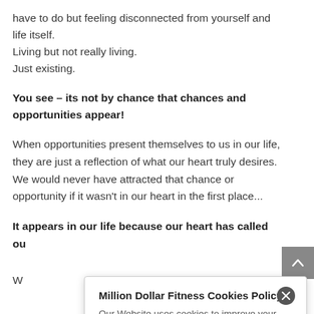have to do but feeling disconnected from yourself and life itself.
Living but not really living.
Just existing.
You see – its not by chance that chances and opportunities appear!
When opportunities present themselves to us in our life, they are just a reflection of what our heart truly desires. We would never have attracted that chance or opportunity if it wasn't in our heart in the first place...
It appears in our life because our heart has called ou
W ar
W
Million Dollar Fitness Cookies Policy
Our Website uses cookies to improve your experience. Please visit our page for more information about cookies and how we use them.